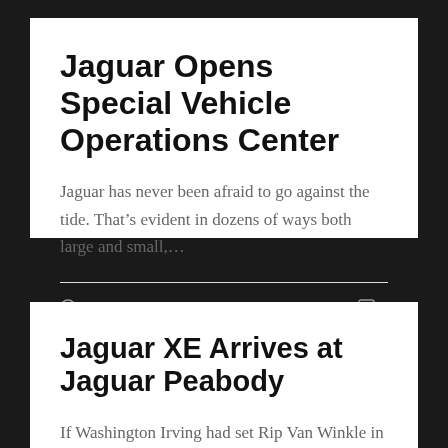Jaguar Opens Special Vehicle Operations Center
Jaguar has never been afraid to go against the tide. That’s evident in dozens of ways both large and small,…
July 10, 2016    0
Jaguar XE Arrives at Jaguar Peabody
If Washington Irving had set Rip Van Winkle in modern times, you could forgive the old